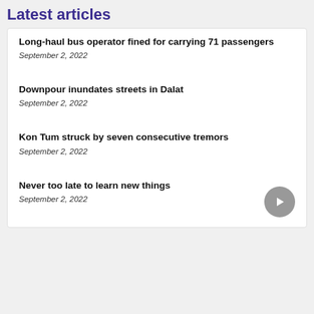Latest articles
Long-haul bus operator fined for carrying 71 passengers
September 2, 2022
Downpour inundates streets in Dalat
September 2, 2022
Kon Tum struck by seven consecutive tremors
September 2, 2022
Never too late to learn new things
September 2, 2022